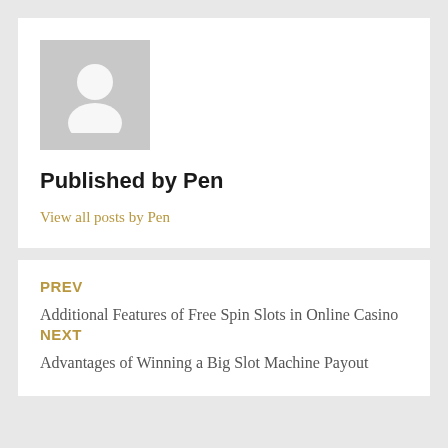[Figure (illustration): Generic gray placeholder avatar image showing a silhouette of a person (head and shoulders) on a gray background]
Published by Pen
View all posts by Pen
PREV
Additional Features of Free Spin Slots in Online Casino
NEXT
Advantages of Winning a Big Slot Machine Payout